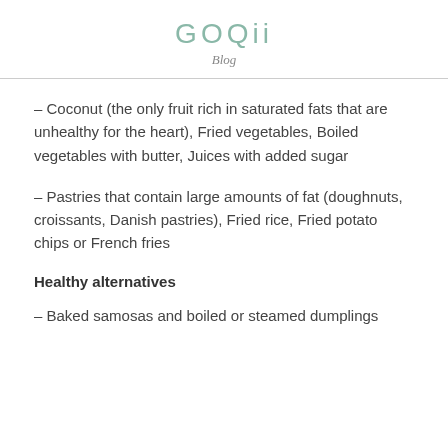GOQii
Blog
– Coconut (the only fruit rich in saturated fats that are unhealthy for the heart), Fried vegetables, Boiled vegetables with butter, Juices with added sugar
– Pastries that contain large amounts of fat (doughnuts, croissants, Danish pastries), Fried rice, Fried potato chips or French fries
Healthy alternatives
– Baked samosas and boiled or steamed dumplings